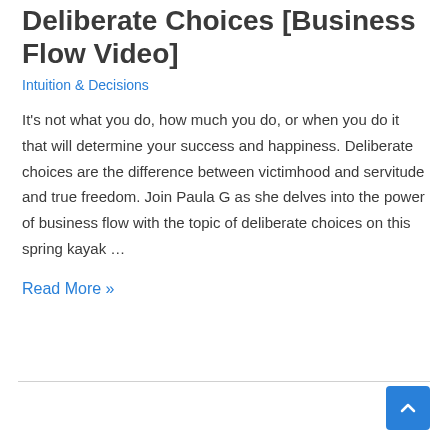Deliberate Choices [Business Flow Video]
Intuition & Decisions
It's not what you do, how much you do, or when you do it that will determine your success and happiness. Deliberate choices are the difference between victimhood and servitude and true freedom. Join Paula G as she delves into the power of business flow with the topic of deliberate choices on this spring kayak …
Read More »